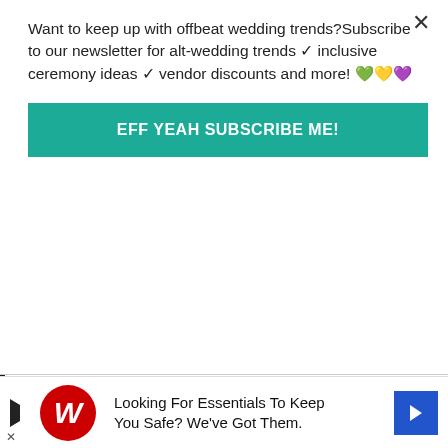Want to keep up with offbeat wedding trends?Subscribe to our newsletter for alt-wedding trends ✓ inclusive ceremony ideas ✓ vendor discounts and more! 💚💛💜
EFF YEAH SUBSCRIBE ME!
100 coming in the evening we needed somewhere big! We both grew up in Essex and knew we wanted to get married somewhere close to “home.” We wanted everything in our wedding to be significant or have a reason to be there, including the venue. I’d been to Layer Marney as a little girl to visit craft fairs, and when we went to view it for the wedding we knew it was just perfect for us: full of history and beautiful.
[Figure (infographic): Walgreens advertisement banner: red circle logo with W, play button icon, text 'Looking For Essentials To Keep You Safe? We've Got Them.' with blue arrow icon on right, and X close button on left bottom]